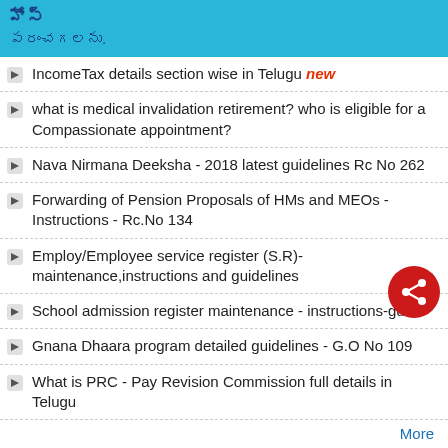హోస్
పరంచగలను.
IncomeTax details section wise in Telugu new
what is medical invalidation retirement? who is eligible for a Compassionate appointment?
Nava Nirmana Deeksha - 2018 latest guidelines Rc No 262
Forwarding of Pension Proposals of HMs and MEOs - Instructions - Rc.No 134
Employ/Employee service register (S.R)-maintenance,instructions and guidelines
School admission register maintenance - instructions-guid...
Gnana Dhaara program detailed guidelines - G.O No 109
What is PRC - Pay Revision Commission full details in Telugu
More
SPONSORED LINKS
ALL USEFUL G.O'S